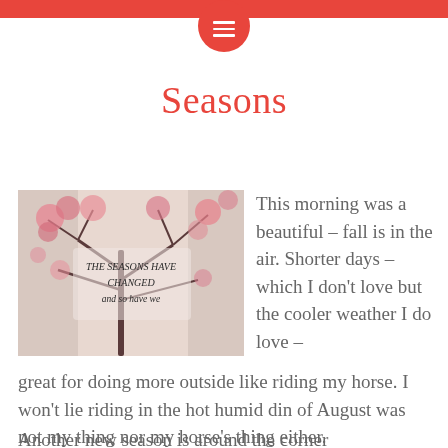Seasons
[Figure (photo): Autumn tree with pink/red blossoms against a light sky, with handwritten text overlay reading 'THE SEASONS HAVE CHANGED and so have we']
This morning was a beautiful – fall is in the air. Shorter days – which I don't love but the cooler weather I do love – great for doing more outside like riding my horse. I won't lie riding in the hot humid din of August was not my thing nor my horse's thing either.
Another new season is around the corner